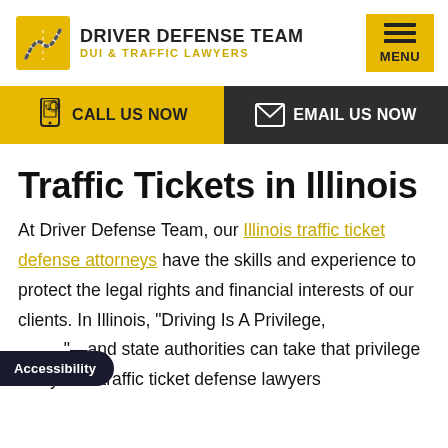[Figure (logo): Driver Defense Team logo with road/curve icon, text 'DRIVER DEFENSE TEAM' and 'DUI & TRAFFIC LAWYERS', and yellow menu button]
[Figure (infographic): Two CTA buttons: yellow 'CALL US NOW' with phone icon, dark grey 'EMAIL US NOW' with envelope icon]
Traffic Tickets in Illinois
At Driver Defense Team, our Illinois traffic ticket defense attorneys have the skills and experience to protect the legal rights and financial interests of our clients. In Illinois, "Driving Is A Privilege, Not a Right."—and state authorities can take that privilege away. Our traffic ticket defense lawyers